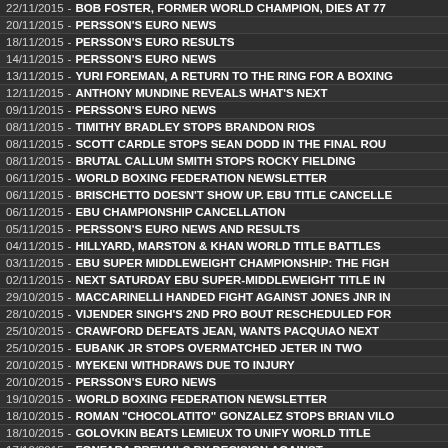22/11/2015 - BOB FOSTER, FORMER WORLD CHAMPION, DIES AT 77
20/11/2015 - PERSSON'S EURO NEWS
18/11/2015 - PERSSON'S EURO RESULTS
14/11/2015 - PERSSON'S EURO NEWS
13/11/2015 - YURI FOREMAN, A RETURN TO THE RING FOR A BOXING...
12/11/2015 - ANTHONY MUNDINE REVEALS WHAT'S NEXT
09/11/2015 - PERSSON'S EURO NEWS
08/11/2015 - TIMITHY BRADLEY STOPS BRANDON RIOS
08/11/2015 - SCOTT CARDLE STOPS SEAN DODD IN THE FINAL ROU...
08/11/2015 - BRUTAL CALLUM SMITH STOPS ROCKY FIELDING
06/11/2015 - WORLD BOXING FEDERATION NEWSLETTER
06/11/2015 - BRISCHETTO DOESN'T SHOW UP. EBU TITLE CANCELLE...
06/11/2015 - EBU CHAMPIONSHIP CANCELLATION
05/11/2015 - PERSSON'S EURO NEWS AND RESULTS
04/11/2015 - HILLYARD, MARSTON & KHAN WORLD TITLE BATTLES
03/11/2015 - EBU SUPER MIDDLEWEIGHT CHAMPIONSHIP: THE FIGH...
02/11/2015 - NEXT SATURDAY EBU SUPER-MIDDLEWEIGHT TITLE IN...
29/10/2015 - MACCARINELLI HANDED FIGHT AGAINST JONES JNR IN...
28/10/2015 - VIJENDER SINGH'S 2ND PRO BOUT RESCHEDULED FOR...
25/10/2015 - CRAWFORD DEFEATS JEAN, WANTS PACQUIAO NEXT
25/10/2015 - EUBANK JR STOPS OVERMATCHED JETER IN TWO
20/10/2015 - MYEKENI WITHDRAWS DUE TO INJURY
20/10/2015 - PERSSON'S EURO NEWS
19/10/2015 - WORLD BOXING FEDERATION NEWSLETTER
18/10/2015 - ROMAN "CHOCOLATITO" GONZALEZ STOPS BRIAN VILO...
18/10/2015 - GOLOVKIN BEATS LEMIEUX TO UNIFY WORLD TITLE
17/10/2015 - FONFARA PREVAILS BY DECISION AGAINST...